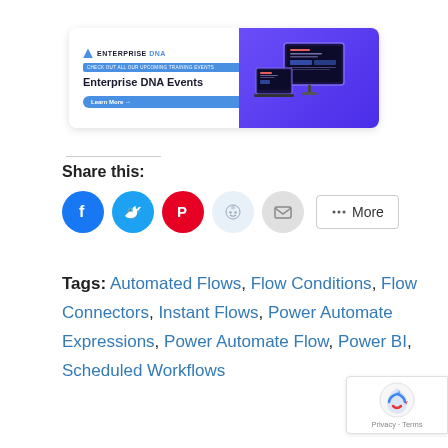[Figure (infographic): Enterprise DNA Events promotional banner with logo, 'Learn More' button, and laptop/monitor illustration on purple background]
Share this:
[Figure (infographic): Social share buttons: Facebook (blue), Twitter (blue), Pinterest (red), Reddit (light blue), Email (gray), and More button]
Tags: Automated Flows, Flow Conditions, Flow Connectors, Instant Flows, Power Automate Expressions, Power Automate Flow, Power BI, Scheduled Workflows